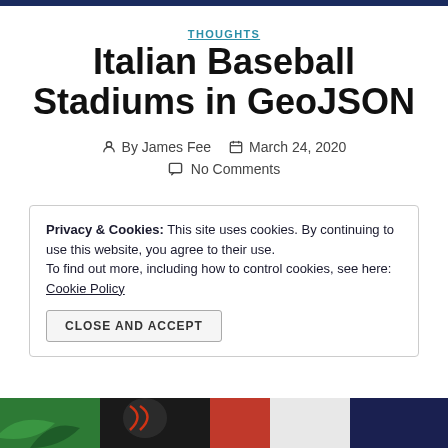THOUGHTS
Italian Baseball Stadiums in GeoJSON
By James Fee   March 24, 2020
No Comments
Privacy & Cookies: This site uses cookies. By continuing to use this website, you agree to their use. To find out more, including how to control cookies, see here: Cookie Policy
CLOSE AND ACCEPT
[Figure (photo): Partial view of a baseball with Italian flag colors green, black, red in the background]